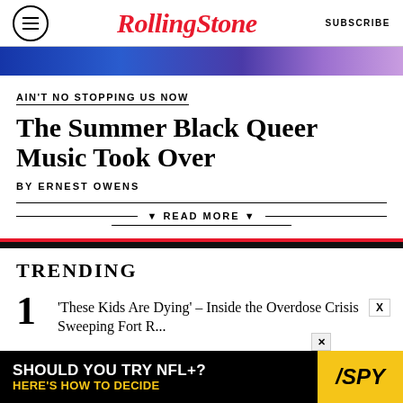Rolling Stone | SUBSCRIBE
[Figure (photo): Colorful banner image with blue and purple hues at the top of the article]
AIN'T NO STOPPING US NOW
The Summer Black Queer Music Took Over
BY ERNEST OWENS
▼ READ MORE ▼
TRENDING
1 'These Kids Are Dying' – Inside the Overdose Crisis Sweeping Fort R...
[Figure (screenshot): Advertisement banner: SHOULD YOU TRY NFL+? HERE'S HOW TO DECIDE | SPY]